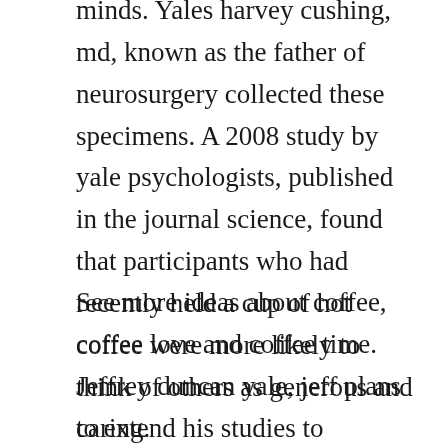minds. Yales harvey cushing, md, known as the father of neurosurgery collected these specimens. A 2008 study by yale psychologists, published in the journal science, found that participants who had recently held a cup of hot coffee were more likely to think of others as generous and caring.
See more ideas about coffee, coffee love and coffee time. Jeffrey duncan yale, jeff plans to extend his studies to understanding hostpathogen interactions from the perspective of the host as a graduate student